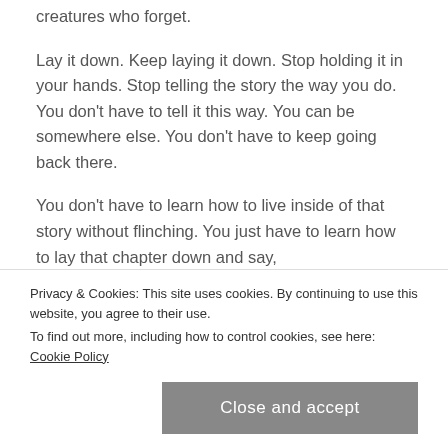creatures who forget.
Lay it down. Keep laying it down. Stop holding it in your hands. Stop telling the story the way you do. You don't have to tell it this way. You can be somewhere else. You don't have to keep going back there.
You don't have to learn how to live inside of that story without flinching. You just have to learn how to lay that chapter down and say, "Okay, I can't re-write that part. I can't keep
Privacy & Cookies: This site uses cookies. By continuing to use this website, you agree to their use. To find out more, including how to control cookies, see here: Cookie Policy
Close and accept
...where this thing goes and who we become.